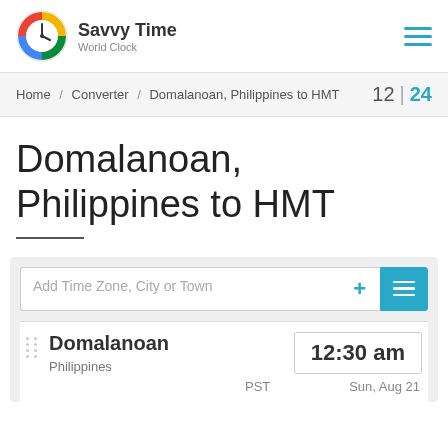Savvy Time World Clock
Home / Converter / Domalanoan, Philippines to HMT  12 | 24
Domalanoan, Philippines to HMT
Add Time Zone, City or Town
Domalanoan  12:30 am  Philippines  PST  Sun, Aug 21